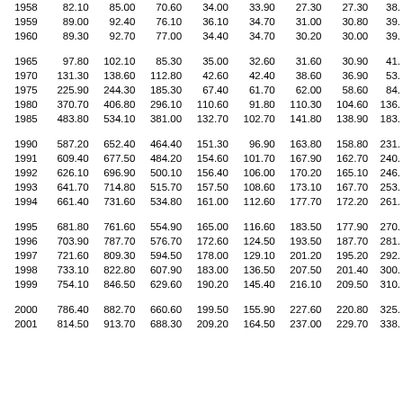| Year | Col1 | Col2 | Col3 | Col4 | Col5 | Col6 | Col7 | Col8 |
| --- | --- | --- | --- | --- | --- | --- | --- | --- |
| 1958 | 82.10 | 85.00 | 70.60 | 34.00 | 33.90 | 27.30 | 27.30 | 38. |
| 1959 | 89.00 | 92.40 | 76.10 | 36.10 | 34.70 | 31.00 | 30.80 | 39. |
| 1960 | 89.30 | 92.70 | 77.00 | 34.40 | 34.70 | 30.20 | 30.00 | 39. |
| 1965 | 97.80 | 102.10 | 85.30 | 35.00 | 32.60 | 31.60 | 30.90 | 41. |
| 1970 | 131.30 | 138.60 | 112.80 | 42.60 | 42.40 | 38.60 | 36.90 | 53. |
| 1975 | 225.90 | 244.30 | 185.30 | 67.40 | 61.70 | 62.00 | 58.60 | 84. |
| 1980 | 370.70 | 406.80 | 296.10 | 110.60 | 91.80 | 110.30 | 104.60 | 136. |
| 1985 | 483.80 | 534.10 | 381.00 | 132.70 | 102.70 | 141.80 | 138.90 | 183. |
| 1990 | 587.20 | 652.40 | 464.40 | 151.30 | 96.90 | 163.80 | 158.80 | 231. |
| 1991 | 609.40 | 677.50 | 484.20 | 154.60 | 101.70 | 167.90 | 162.70 | 240. |
| 1992 | 626.10 | 696.90 | 500.10 | 156.40 | 106.00 | 170.20 | 165.10 | 246. |
| 1993 | 641.70 | 714.80 | 515.70 | 157.50 | 108.60 | 173.10 | 167.70 | 253. |
| 1994 | 661.40 | 731.60 | 534.80 | 161.00 | 112.60 | 177.70 | 172.20 | 261. |
| 1995 | 681.80 | 761.60 | 554.90 | 165.00 | 116.60 | 183.50 | 177.90 | 270. |
| 1996 | 703.90 | 787.70 | 576.70 | 172.60 | 124.50 | 193.50 | 187.70 | 281. |
| 1997 | 721.60 | 809.30 | 594.50 | 178.00 | 129.10 | 201.20 | 195.20 | 292. |
| 1998 | 733.10 | 822.80 | 607.90 | 183.00 | 136.50 | 207.50 | 201.40 | 300. |
| 1999 | 754.10 | 846.50 | 629.60 | 190.20 | 145.40 | 216.10 | 209.50 | 310. |
| 2000 | 786.40 | 882.70 | 660.60 | 199.50 | 155.90 | 227.60 | 220.80 | 325. |
| 2001 | 814.50 | 913.70 | 688.30 | 209.20 | 164.50 | 237.00 | 229.70 | 338. |